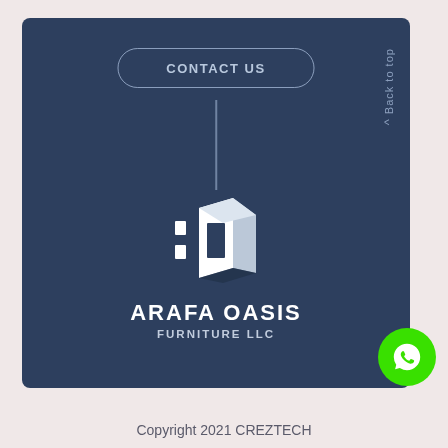[Figure (logo): Arafa Oasis Furniture LLC logo with stylized 3D door/letter mark in white on dark navy background, with CONTACT US button and vertical line above, Back to top text on right side]
CONTACT US
Back to top ^
ARAFA OASIS
FURNITURE LLC
[Figure (logo): WhatsApp icon in green circle]
Copyright 2021 CREZTECH